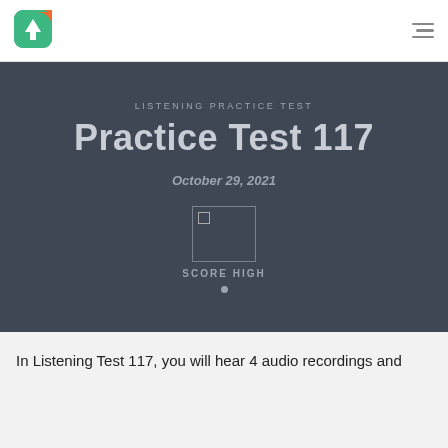[Figure (logo): Green and orange rounded square logo with white arrow pointing up]
LISTENING PRACTICE TEST
Practice Test 117
October 29, 2021
[Figure (illustration): Score High badge image (broken/loading placeholder) with text SCORE HIGH below it and a dot indicator]
In Listening Test 117, you will hear 4 audio recordings and